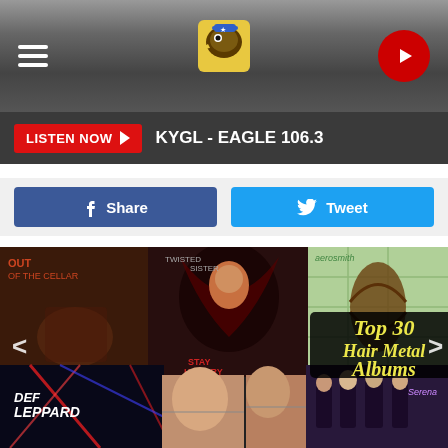KYGL - EAGLE 106.3
LISTEN NOW ▶  KYGL - EAGLE 106.3
f  Share    🐦  Tweet
[Figure (photo): Collage of hair metal album covers including Def Leppard, Twisted Sister, Aerosmith, and others, with a center overlay text reading 'Top 30 Hair Metal Albums' in yellow italic font on dark background. Navigation arrows on left and right sides.]